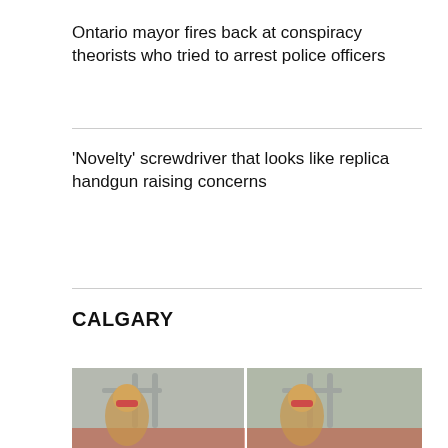Ontario mayor fires back at conspiracy theorists who tried to arrest police officers
'Novelty' screwdriver that looks like replica handgun raising concerns
CALGARY
[Figure (photo): Two side-by-side surveillance photos of a blonde woman wearing sunglasses and a dark top, sitting inside a transit vehicle (subway/train) with silver handrails and red seat trim visible.]